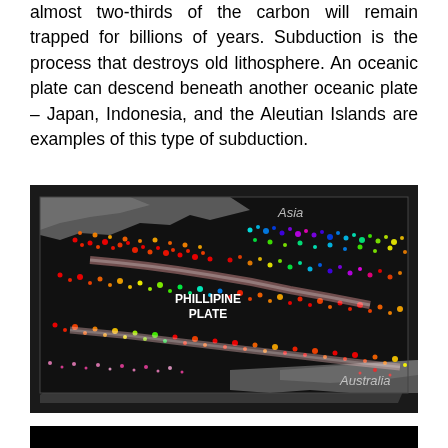almost two-thirds of the carbon will remain trapped for billions of years. Subduction is the process that destroys old lithosphere. An oceanic plate can descend beneath another oceanic plate – Japan, Indonesia, and the Aleutian Islands are examples of this type of subduction.
[Figure (map): False-color seismic/tectonic map showing earthquake depth distribution around the Philippine Plate region. Colored dots (red, orange, yellow, green, blue, purple) indicate seismic activity at various depths. Labels show 'Asia' in upper left, 'PHILLIPINE PLATE' in center, and 'Australia' in lower right. Background is black with gray continental outlines.]